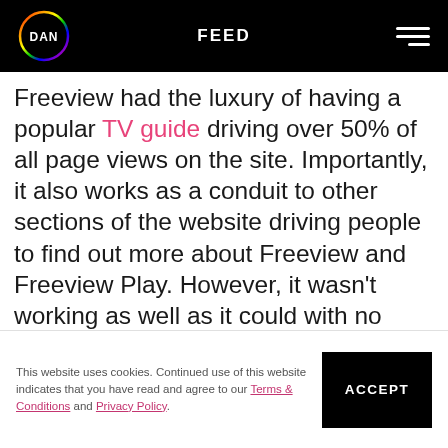DAN | FEED
Freeview had the luxury of having a popular TV guide driving over 50% of all page views on the site. Importantly, it also works as a conduit to other sections of the website driving people to find out more about Freeview and Freeview Play. However, it wasn't working as well as it could with no deep linking to watch TV shows, limited content and a second-rate mobile
This website uses cookies. Continued use of this website indicates that you have read and agree to our Terms & Conditions and Privacy Policy.